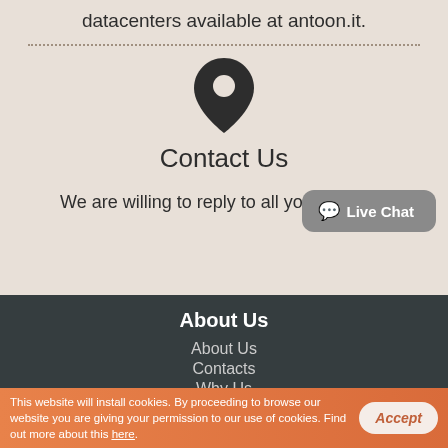datacenters available at antoon.it.
[Figure (illustration): Map pin / location icon in dark color]
Contact Us
We are willing to reply to all your queries.
About Us
About Us
Contacts
Why Us
Website Migration
[Figure (illustration): Live Chat button widget with speech bubble icon]
This website will install cookies. By proceeding to browse our website you are giving your permission to our use of cookies. Find out more about this here.